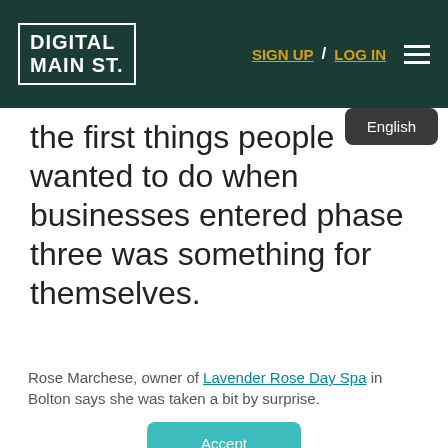DIGITAL MAIN ST. | SIGN UP / LOG IN
the first things people wanted to do when businesses entered phase three was something for themselves.
Rose Marchese, owner of Lavender Rose Day Spa in Bolton says she was taken a bit by surprise.
This website stores cookies on your computer. These cookies are used to collect information about how you interact with our website and allow us to remember you. We use this information in order to improve and customize your browsing experience and for analytics and metrics about our visitors both on this website and other media. To find out more about the cookies we use, see our Privacy Policy
Accept